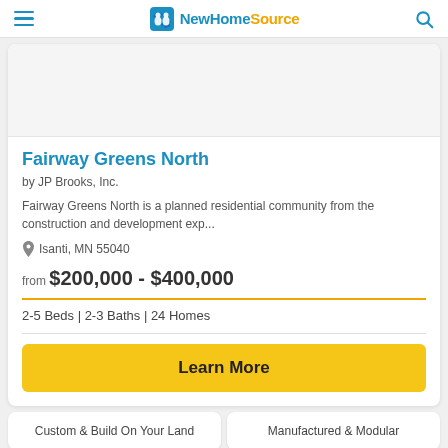NewHomeSource
[Figure (screenshot): Property image placeholder area (white/grey background)]
Fairway Greens North
by JP Brooks, Inc.
Fairway Greens North is a planned residential community from the construction and development exp...
Isanti, MN 55040
from $200,000 - $400,000
2-5 Beds | 2-3 Baths | 24 Homes
Learn More
Custom & Build On Your Land
Manufactured & Modular